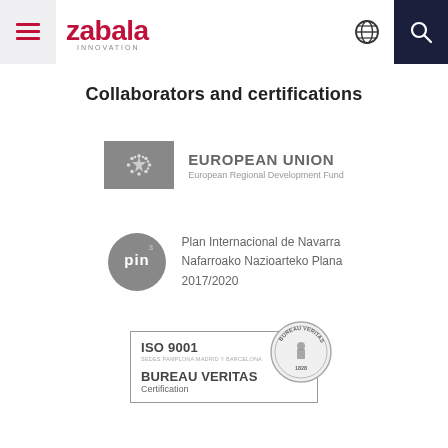Zabala Innovation
Collaborators and certifications
[Figure (logo): European Union European Regional Development Fund logo in greyscale — EU star circle flag and text]
[Figure (logo): PIN3 logo — Plan Internacional de Navarra / Nafarroako Nazioarteko Plana 2017/2020, circular grey badge with PIN text]
[Figure (logo): Bureau Veritas Certification ISO 9001 logo with circular seal, SEDES PAMPLONA MADRID Y BARCELONA text, year 1828]